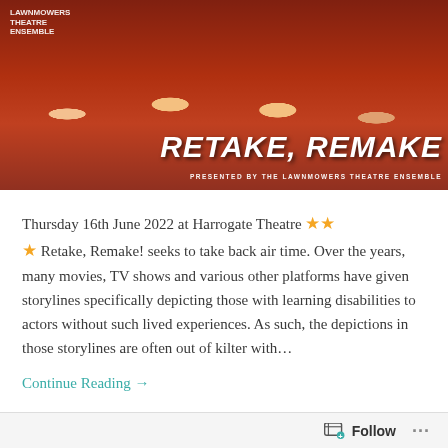[Figure (photo): Promotional photo for 'Retake, Remake!' showing four people wearing orange hard hats against a dark red background, with the show title 'RETAKE, REMAKE' in large italic white text and subtitle 'PRESENTED BY THE LAWNMOWERS THEATRE ENSEMBLE']
Thursday 16th June 2022 at Harrogate Theatre ⭐⭐⭐ Retake, Remake! seeks to take back air time. Over the years, many movies, TV shows and various other platforms have given storylines specifically depicting those with learning disabilities to actors without such lived experiences. As such, the depictions in those storylines are often out of kilter with...
Continue Reading →
Follow ···